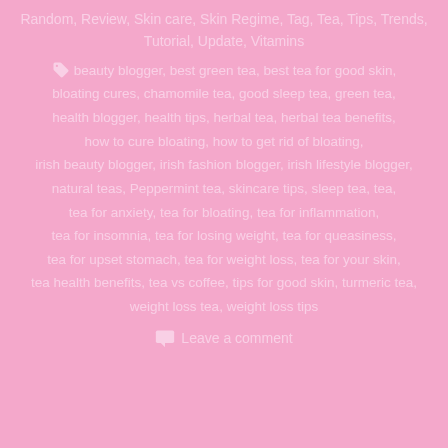Random, Review, Skin care, Skin Regime, Tag, Tea, Tips, Trends, Tutorial, Update, Vitamins
beauty blogger, best green tea, best tea for good skin, bloating cures, chamomile tea, good sleep tea, green tea, health blogger, health tips, herbal tea, herbal tea benefits, how to cure bloating, how to get rid of bloating, irish beauty blogger, irish fashion blogger, irish lifestyle blogger, natural teas, Peppermint tea, skincare tips, sleep tea, tea, tea for anxiety, tea for bloating, tea for inflammation, tea for insomnia, tea for losing weight, tea for queasiness, tea for upset stomach, tea for weight loss, tea for your skin, tea health benefits, tea vs coffee, tips for good skin, turmeric tea, weight loss tea, weight loss tips
Leave a comment